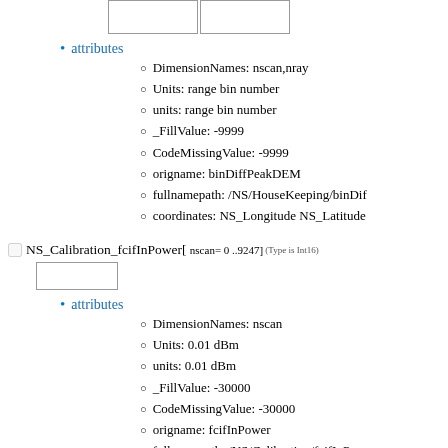[Figure (other): Two empty rectangular boxes side by side at the top of the page]
attributes
DimensionNames: nscan,nray
Units: range bin number
units: range bin number
_FillValue: -9999
CodeMissingValue: -9999
origname: binDiffPeakDEM
fullnamepath: /NS/HouseKeeping/binDif
coordinates: NS_Longitude NS_Latitude
NS_Calibration_fcifInPower[ nscan= 0 ..9247] (Type is Int16)
[Figure (other): One empty rectangular box]
attributes
DimensionNames: nscan
Units: 0.01 dBm
units: 0.01 dBm
_FillValue: -30000
CodeMissingValue: -30000
origname: fcifInPower
fullnamepath: /NS/Calibration/fcifInPowe
NS_Calibration_intAttSelect[ nscan= 0 ..9247] (Type is Int16)